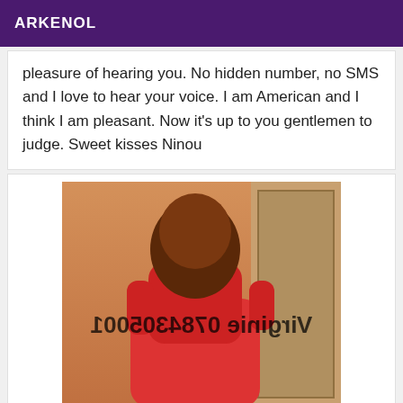ARKENOL
pleasure of hearing you. No hidden number, no SMS and I love to hear your voice. I am American and I think I am pleasant. Now it's up to you gentlemen to judge. Sweet kisses Ninou
[Figure (photo): A person wearing a red outfit standing in front of a door, with mirrored/reversed text overlay reading 'Virginie 0784305001']